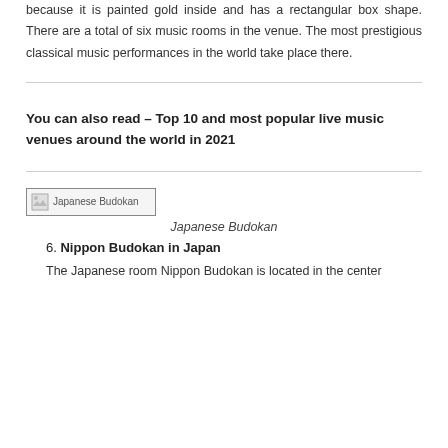because it is painted gold inside and has a rectangular box shape. There are a total of six music rooms in the venue. The most prestigious classical music performances in the world take place there.
You can also read – Top 10 and most popular live music venues around the world in 2021
[Figure (photo): Broken image placeholder for Japanese Budokan]
Japanese Budokan
6. Nippon Budokan in Japan
The Japanese room Nippon Budokan is located in the center